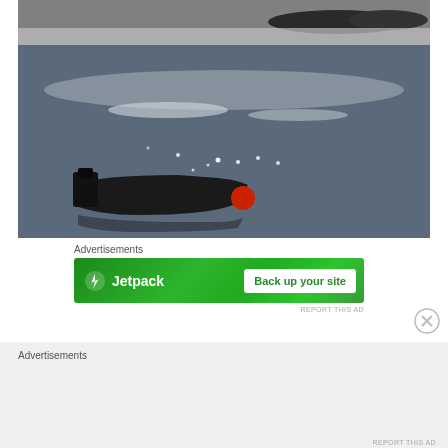[Figure (photo): Black and white photograph of a small motorboat on calm water, with islands or shoreline visible in the background and sunlight glinting on the water surface.]
Advertisements
[Figure (screenshot): Jetpack advertisement banner with green background showing Jetpack logo (lightning bolt icon) and text 'Jetpack' on the left, and a white button reading 'Back up your site' on the right.]
REPORT THIS AD
Advertisements
REPORT THIS AD